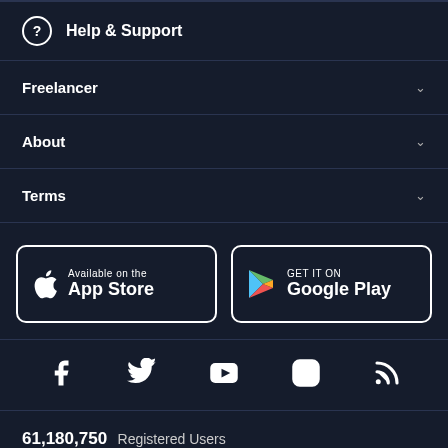Help & Support
Freelancer
About
Terms
[Figure (logo): App Store and Google Play download buttons]
[Figure (infographic): Social media icons: Facebook, Twitter, YouTube, Instagram, RSS]
61,180,750 Registered Users